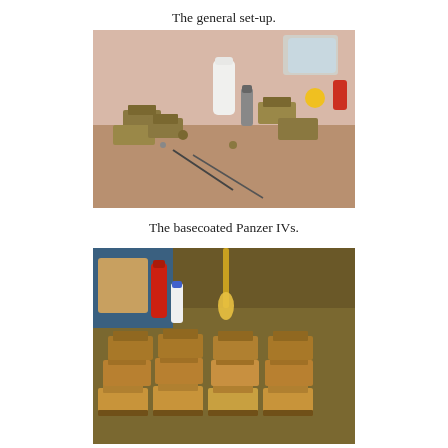The general set-up.
[Figure (photo): A workshop/hobby desk with small military tank models (Panzer IVs) being painted. Paint bottles, tools, and a pink/beige cloth are visible on a wooden surface.]
The basecoated Panzer IVs.
[Figure (photo): Close-up of multiple basecoated Panzer IV model tanks arranged on a surface, with paint bottles (red, blue caps) and a brush visible. The tanks show yellowish-brown base paint.]